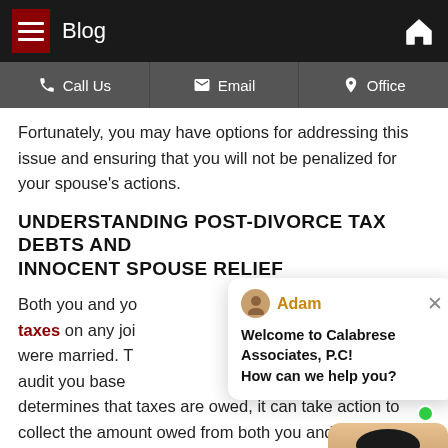Blog
Call Us | Email | Office
Fortunately, you may have options for addressing this issue and ensuring that you will not be penalized for your spouse's actions.
UNDERSTANDING POST-DIVORCE TAX DEBTS AND INNOCENT SPOUSE RELIEF
Both you and your spouse may owe back taxes on any joint returns that you filed while you were married. The IRS has the authority to audit you based on those returns, and if it determines that taxes are owed, it can take action to collect the amount owed from both you and your spouse. Even if your divorce decree states that your spouse will be solely responsible for these tax debts, the IRS can disregard the court's orders in these matters and collect money from both of you.